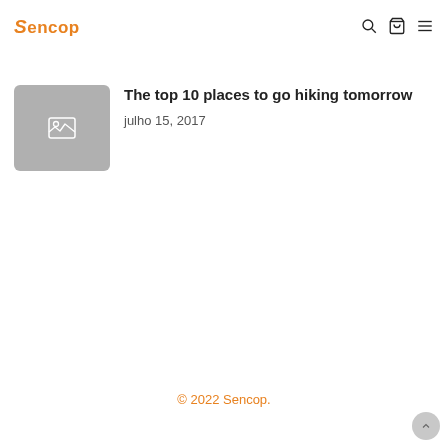Sencop — navigation header with search, bag, and menu icons
[Figure (screenshot): Partially visible article thumbnail (faded) with title and date setembro 21, 2017]
[Figure (photo): Gray placeholder image thumbnail with image icon]
The top 10 places to go hiking tomorrow
julho 15, 2017
© 2022 Sencop.